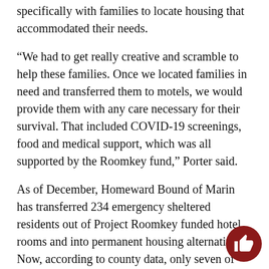specifically with families to locate housing that accommodated their needs.
“We had to get really creative and scramble to help these families. Once we located families in need and transferred them to motels, we would provide them with any care necessary for their survival. That included COVID-19 screenings, food and medical support, which was all supported by the Roomkey fund,” Porter said.
As of December, Homeward Bound of Marin has transferred 234 emergency sheltered residents out of Project Roomkey funded hotel rooms and into permanent housing alternatives. Now, according to county data, only seven of them remain in hotel rooms.
Whether or not Project Roomkey is re-established later in the year, Hening is committed to providing homeless people with shelter options and health protection that...